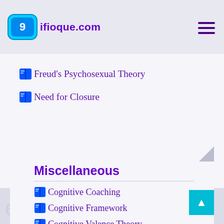9ifioque.com
Freud's Psychosexual Theory
Need for Closure
Miscellaneous
Cognitive Coaching
Cognitive Framework
Cognitive Valence Theory
Defense Mechanism
Existential Theory